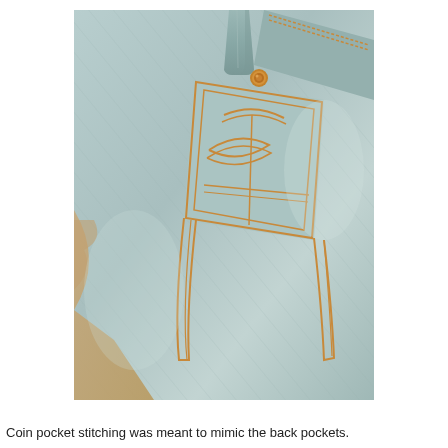[Figure (photo): Close-up photograph of light blue denim jeans showing the coin pocket area with orange/gold stitching detail, a rivet at the top, and the watch pocket insert. The distinctive decorative stitching pattern is visible on the small coin pocket. Part of a tan/beige surface is visible at the lower left corner.]
Coin pocket stitching was meant to mimic the back pockets.